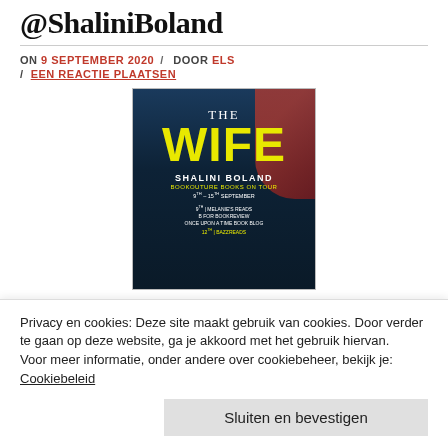@ShaliniBoland
ON 9 SEPTEMBER 2020 / DOOR ELS / EEN REACTIE PLAATSEN
[Figure (illustration): Book cover of 'The Wife' by Shalini Boland. Dark blue background with a blonde woman profile in red. Yellow large text 'WIFE', subtitle 'SHALINI BOLAND', Bookouture Books on Tour, 9th-15th September. Blog tour stop names listed.]
Privacy en cookies: Deze site maakt gebruik van cookies. Door verder te gaan op deze website, ga je akkoord met het gebruik hiervan.
Voor meer informatie, onder andere over cookiebeheer, bekijk je:
Cookiebeleid
Sluiten en bevestigen